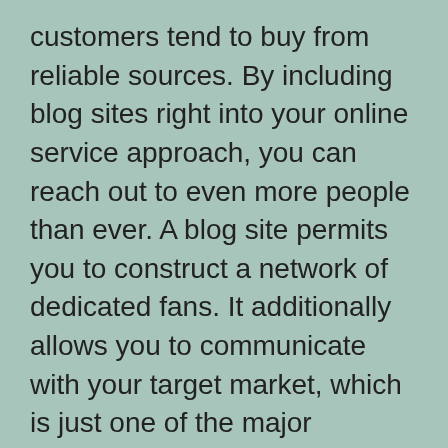customers tend to buy from reliable sources. By including blog sites right into your online service approach, you can reach out to even more people than ever. A blog site permits you to construct a network of dedicated fans. It additionally allows you to communicate with your target market, which is just one of the major advantages of blog writing.
While you can start a blog site on a totally free site, it's finest to purchase a domain name and also hosting in order to create a professional image for your blog. If you're a beginner to blog writing, you'll wish to select a subject